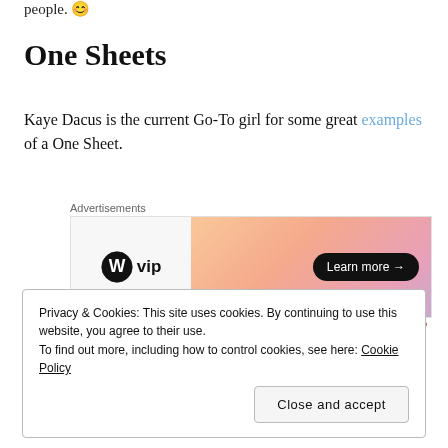people. 😊
One Sheets
Kaye Dacus is the current Go-To girl for some great examples of a One Sheet.
[Figure (other): WordPress VIP advertisement banner with gradient orange-pink background and 'Learn more →' button]
Privacy & Cookies: This site uses cookies. By continuing to use this website, you agree to their use.
To find out more, including how to control cookies, see here: Cookie Policy
Close and accept